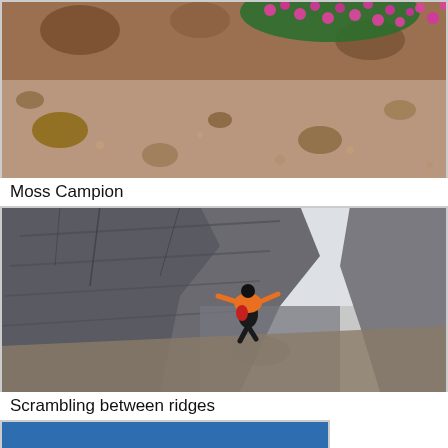[Figure (photo): Close-up photograph of rocky alpine terrain with bright pink/magenta Moss Campion flowers growing among brown gravel and stones]
Moss Campion
[Figure (photo): Person in orange jacket and black pants scrambling/climbing up steep grey granite rock face between ridges]
Scrambling between ridges
[Figure (photo): Partial view of a blue rectangular image at the bottom of the page]